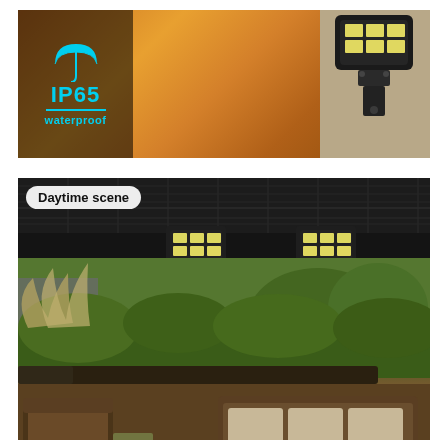[Figure (photo): Product marketing image showing IP65 waterproof rating badge with cyan umbrella icon and text overlay on left, warm outdoor garden/yard scene with warm lighting in center, and close-up of black outdoor LED fixture mounted on wall on right]
[Figure (photo): Daytime scene showing black pergola structure with multiple COB LED solar street lights mounted underneath, overlooking a patio with rattan furniture, lush green plants, flowering bushes, and outdoor garden setting. Label reads 'Daytime scene'.]